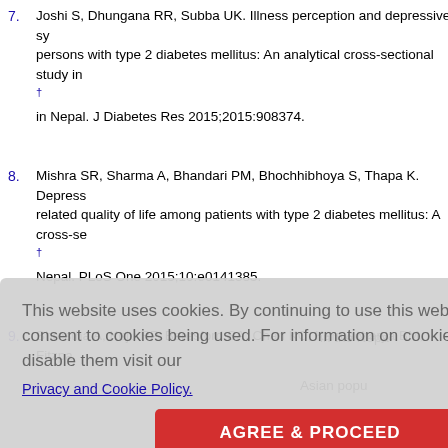7. Joshi S, Dhungana RR, Subba UK. Illness perception and depressive symptoms among persons with type 2 diabetes mellitus: An analytical cross-sectional study in Nepal. J Diabetes Res 2015;2015:908374.
8. Mishra SR, Sharma A, Bhandari PM, Bhochhibhoya S, Thapa K. Depressive related quality of life among patients with type 2 diabetes mellitus: A cross-sectional study in Nepal. PLoS One 2015;10:e0141385.
9. Shrestha A, Koju RP, Beresford SA, Chan KC, Karmacharya BM, Fitzpa... in the Nepa...
This website uses cookies. By continuing to use this website you are giving consent to cookies being used. For information on cookies and how you can disable them visit our
Privacy and Cookie Policy.
AGREE & PROCEED